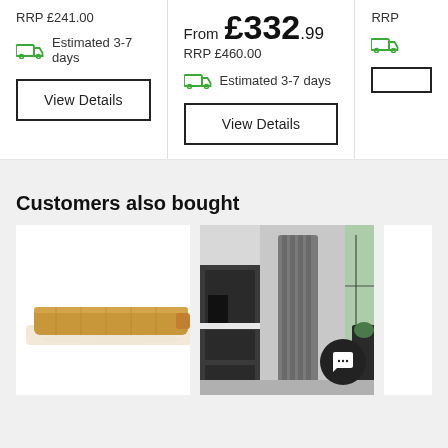RRP £241.00
Estimated 3-7 days
From £332.99
RRP £460.00
Estimated 3-7 days
View Details
View Details
Customers also bought
[Figure (photo): Wooden shelf board product on white background]
[Figure (photo): Kitchen interior with vertical grey radiator, dark cabinets and window]